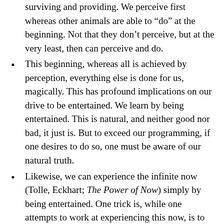surviving and providing. We perceive first whereas other animals are able to “do” at the beginning. Not that they don’t perceive, but at the very least, then can perceive and do.
This beginning, whereas all is achieved by perception, everything else is done for us, magically. This has profound implications on our drive to be entertained. We learn by being entertained. This is natural, and neither good nor bad, it just is. But to exceed our programming, if one desires to do so, one must be aware of our natural truth.
Likewise, we can experience the infinite now (Tolle, Eckhart; The Power of Now) simply by being entertained. One trick is, while one attempts to work at experiencing this now, is to use music, meditation tapes, exercise, sex, or any other method one finds useful, to help one become aware of the river of time.